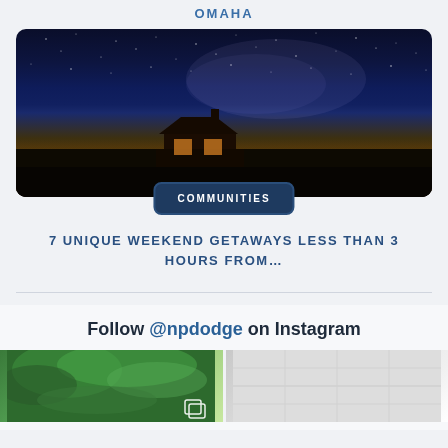OMAHA
[Figure (photo): Night sky photo with Milky Way over a lit cabin in a field, with a COMMUNITIES button overlay]
7 UNIQUE WEEKEND GETAWAYS LESS THAN 3 HOURS FROM…
Follow @npdodge on Instagram
[Figure (photo): Instagram photo showing green trees]
[Figure (photo): Instagram photo showing interior ceiling/garage]